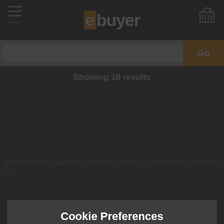ebuyer - MENU, search bar with Go button
Showing 18 results
Scroll down the page to see our latest products or use the filters on the left of
Cookie Preferences
We use different types of cookies to optimise your experience on our website. Click the cookie settings button to learn more about their purpose. You may choose which types of cookies to allow and can change your preferences at any time. Remember that disabling cookies may affect your experience on the website. You can learn about how we use cookies by viewing our Cookie Policy.
Amend Your Preference
✓ Accept All Cookies